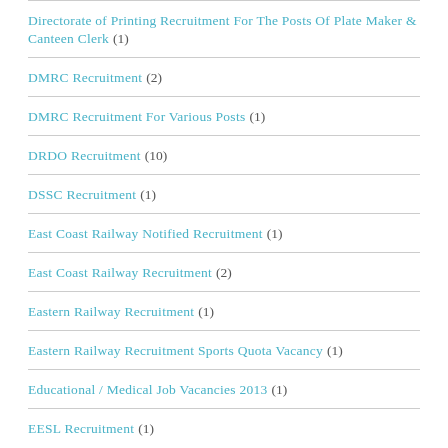Directorate of Printing Recruitment For The Posts Of Plate Maker & Canteen Clerk (1)
DMRC Recruitment (2)
DMRC Recruitment For Various Posts (1)
DRDO Recruitment (10)
DSSC Recruitment (1)
East Coast Railway Notified Recruitment (1)
East Coast Railway Recruitment (2)
Eastern Railway Recruitment (1)
Eastern Railway Recruitment Sports Quota Vacancy (1)
Educational / Medical Job Vacancies 2013 (1)
EESL Recruitment (1)